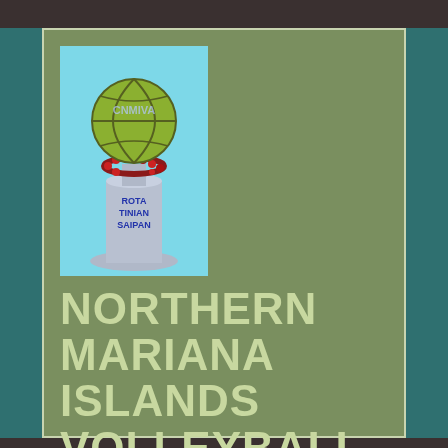[Figure (logo): Northern Mariana Islands Volleyball Association logo — a trophy/pedestal with a volleyball on top with a flower lei, and text ROTA, TINIAN, SAIPAN on the pedestal. Light blue background.]
NORTHERN MARIANA ISLANDS VOLLEYBALL ASSOCIATION
Search this site